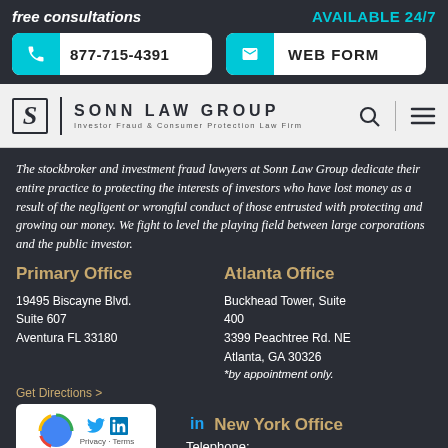free consultations
AVAILABLE 24/7
877-715-4391
WEB FORM
SONN LAW GROUP
Investor Fraud & Consumer Protection Law Firm
The stockbroker and investment fraud lawyers at Sonn Law Group dedicate their entire practice to protecting the interests of investors who have lost money as a result of the negligent or wrongful conduct of those entrusted with protecting and growing our money. We fight to level the playing field between large corporations and the public investor.
Primary Office
19495 Biscayne Blvd.
Suite 607
Aventura FL 33180
Get Directions >
Atlanta Office
Buckhead Tower, Suite 400
3399 Peachtree Rd. NE
Atlanta, GA 30326
*by appointment only.
New York Office
Telephone: